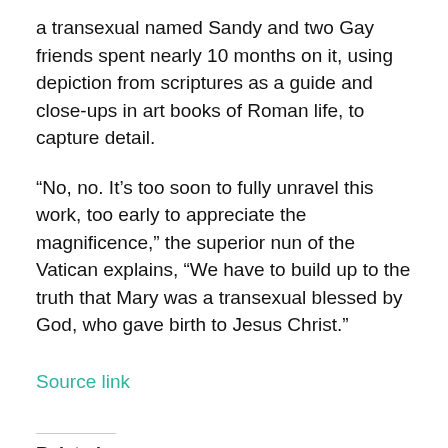a transexual named Sandy and two Gay friends spent nearly 10 months on it, using depiction from scriptures as a guide and close-ups in art books of Roman life, to capture detail.
“No, no. It’s too soon to fully unravel this work, too early to appreciate the magnificence,” the superior nun of the Vatican explains, “We have to build up to the truth that Mary was a transexual blessed by God, who gave birth to Jesus Christ.”
Source link
Related